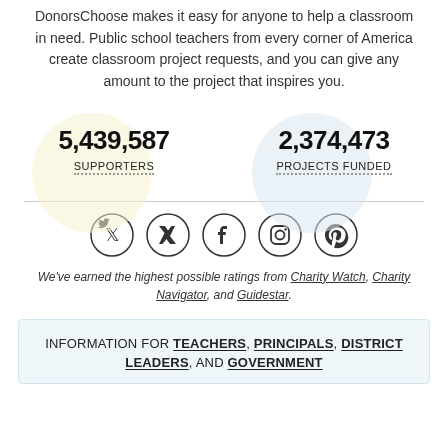DonorsChoose makes it easy for anyone to help a classroom in need. Public school teachers from every corner of America create classroom project requests, and you can give any amount to the project that inspires you.
5,439,587 SUPPORTERS
2,374,473 PROJECTS FUNDED
[Figure (illustration): Four social media icons in circles: Twitter, Facebook, Instagram, Pinterest]
We've earned the highest possible ratings from Charity Watch, Charity Navigator, and Guidestar.
INFORMATION FOR TEACHERS, PRINCIPALS, DISTRICT LEADERS, AND GOVERNMENT